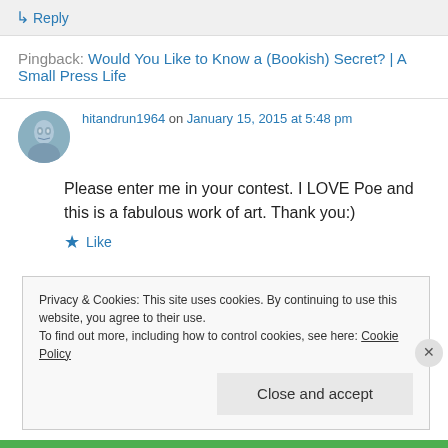↳ Reply
Pingback: Would You Like to Know a (Bookish) Secret? | A Small Press Life
hitandrun1964 on January 15, 2015 at 5:48 pm
Please enter me in your contest. I LOVE Poe and this is a fabulous work of art. Thank you:)
★ Like
Privacy & Cookies: This site uses cookies. By continuing to use this website, you agree to their use.
To find out more, including how to control cookies, see here: Cookie Policy
Close and accept